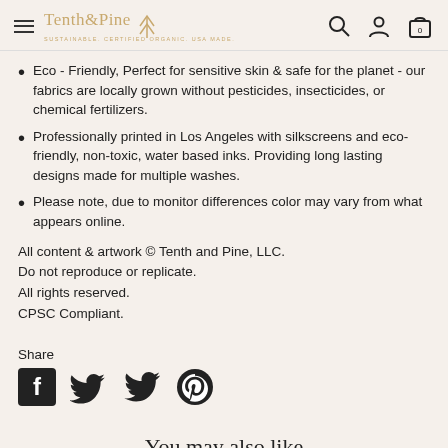Tenth & Pine — SUSTAINABLE. CERTIFIED ORGANIC. USA MADE.
Eco - Friendly, Perfect for sensitive skin & safe for the planet - our fabrics are locally grown without pesticides, insecticides, or chemical fertilizers.
Professionally printed in Los Angeles with silkscreens and eco-friendly, non-toxic, water based inks. Providing long lasting designs made for multiple washes.
Please note, due to monitor differences color may vary from what appears online.
All content & artwork © Tenth and Pine, LLC.
Do not reproduce or replicate.
All rights reserved.
CPSC Compliant.
Share
[Figure (infographic): Social share icons: Facebook, Twitter, Pinterest]
You may also like